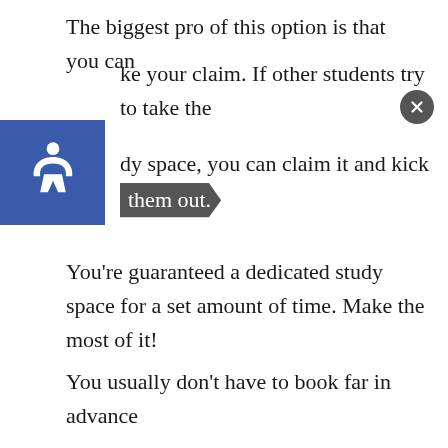The biggest pro of this option is that you can ke your claim. If other students try to take the dy space, you can claim it and kick them out.
You're guaranteed a dedicated study space for a set amount of time. Make the most of it!
You usually don't have to book far in advance because good booking systems are instantaneous. Check whether you can simply book a space 5 or 10 minutes in advance.
However, I find most bookable study spaces do